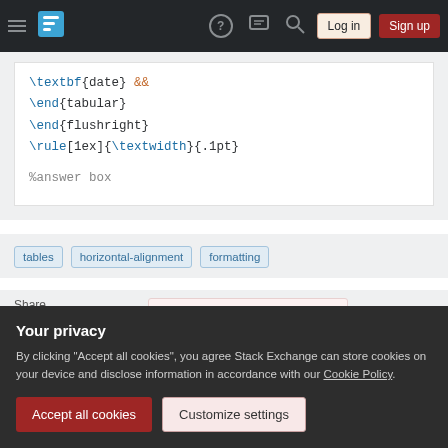Stack Exchange navigation bar with hamburger menu, logo, help, chat, search, Log in, Sign up
\textbf{date} &&
\end{tabular}
\end{flushright}
\rule[1ex]{\textwidth}{.1pt}

%answer  box
tables
horizontal-alignment
formatting
Share
Improve this question
asked Jul 31, 2017 at 3:18
Jenni
Your privacy
By clicking "Accept all cookies", you agree Stack Exchange can store cookies on your device and disclose information in accordance with our Cookie Policy.
Accept all cookies
Customize settings